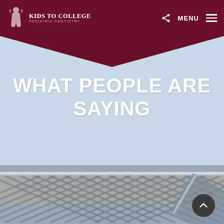Kids to College Pediatric Dentistry — MENU
WHAT PEOPLE ARE SAYING
[Figure (photo): Close-up photo of a metal diamond-pattern mesh/fence, blurred background, gray and silver tones.]